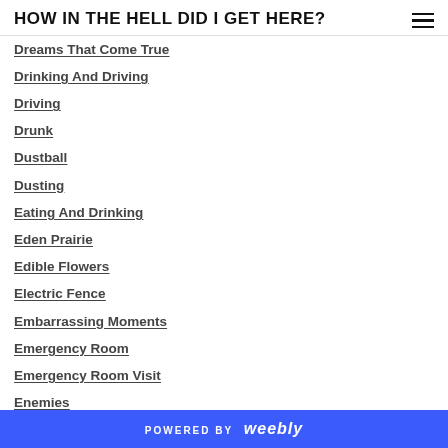HOW IN THE HELL DID I GET HERE?
Dreams That Come True
Drinking And Driving
Driving
Drunk
Dustball
Dusting
Eating And Drinking
Eden Prairie
Edible Flowers
Electric Fence
Embarrassing Moments
Emergency Room
Emergency Room Visit
Enemies
Entities
POWERED BY weebly